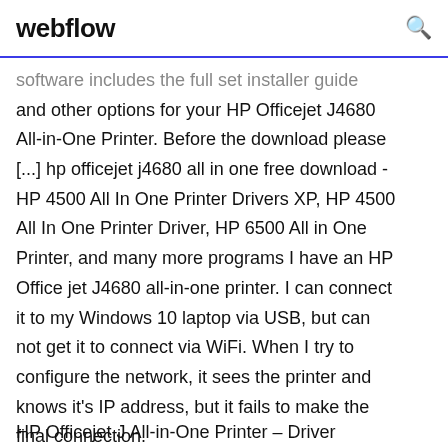webflow
software includes the full set installer guide and other options for your HP Officejet J4680 All-in-One Printer. Before the download please [...] hp officejet j4680 all in one free download - HP 4500 All In One Printer Drivers XP, HP 4500 All In One Printer Driver, HP 6500 All in One Printer, and many more programs I have an HP Office jet J4680 all-in-one printer. I can connect it to my Windows 10 laptop via USB, but can not get it to connect via WiFi. When I try to configure the network, it sees the printer and knows it's IP address, but it fails to make the final connection.
HP Officejet J All-in-One Printer – Driver